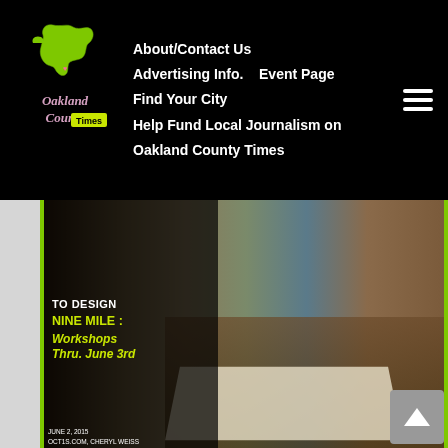[Figure (screenshot): Oakland County Times website navigation bar with logo (green Michigan state shape with 'Oakland County Times' text on black background), navigation links (About/Contact Us, Advertising Info., Event Page, Find Your City, Help Fund Local Journalism on Oakland County Times), and hamburger menu icon]
[Figure (photo): Hero image showing a community meeting about Nine Mile design. Overlay text on left reads 'TO DESIGN NINE MILE: Workshops Thru. June 3rd' in yellow/green. Right side shows people sitting around a table reviewing large printed maps/plans. Caption reads: June 2, 2015, oct1s.com, Cheryl Weiss, Photo: City of Oak Park]
Oak Park Comes Together to Design Nine Mile, Thru. June 3
Oak Park Comes Together to Design Nine Mile – Workshops Thru. June 3 (Cheryl Weiss, June 2, 2015) Oak Park residents, business owners, city staff members, and city officials came together last night to begin a three-day workshop to brainstorm